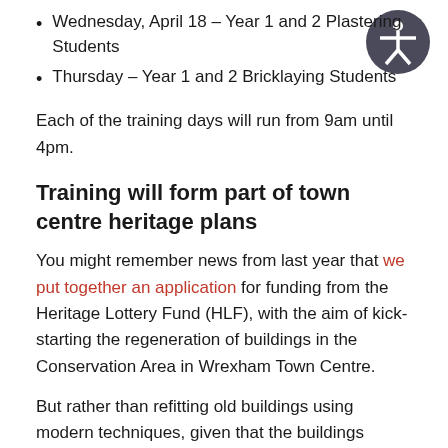Wednesday, April 18 – Year 1 and 2 Plastering Students
Thursday – Year 1 and 2 Bricklaying Students
[Figure (illustration): Circular dark grey accessibility icon showing a stylized person with arms outstretched]
Each of the training days will run from 9am until 4pm.
Training will form part of town centre heritage plans
You might remember news from last year that we put together an application for funding from the Heritage Lottery Fund (HLF), with the aim of kick-starting the regeneration of buildings in the Conservation Area in Wrexham Town Centre.
But rather than refitting old buildings using modern techniques, given that the buildings involved are covered by a Conservation Area – and are very prominent heritage assets in our town – we want to make sure that the methods used to regenerate those buildings are in line with the traditional skills